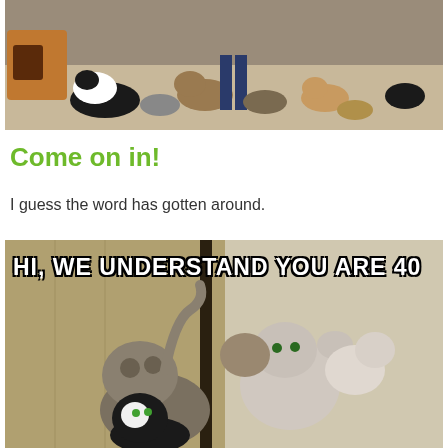[Figure (photo): Many cats crowded on a floor inside a house, various breeds and colors]
Come on in!
I guess the word has gotten around.
[Figure (photo): Cat meme image showing many cats crowding at a door with text 'HI, WE UNDERSTAND YOU ARE 40']